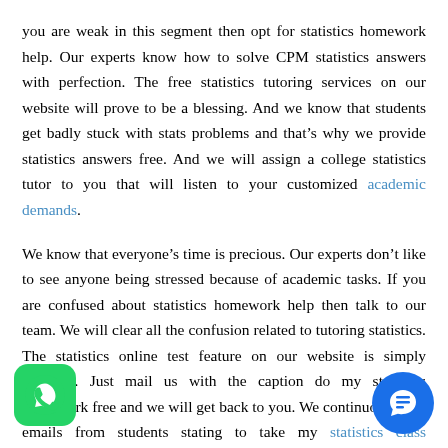you are weak in this segment then opt for statistics homework help. Our experts know how to solve CPM statistics answers with perfection. The free statistics tutoring services on our website will prove to be a blessing. And we know that students get badly stuck with stats problems and that's why we provide statistics answers free. And we will assign a college statistics tutor to you that will listen to your customized academic demands.
We know that everyone's time is precious. Our experts don't like to see anyone being stressed because of academic tasks. If you are confused about statistics homework help then talk to our team. We will clear all the confusion related to tutoring statistics. The statistics online test feature on our website is simply amazing. Just mail us with the caption do my statistics homework free and we will get back to you. We continuously get emails from students stating to take my statistics class f… ll emails are taken seriously and we lend academic s… o e…dent.